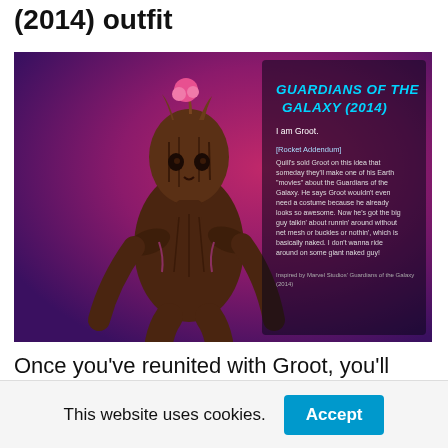(2014) outfit
[Figure (illustration): Promotional image of Groot character from Guardians of the Galaxy (2014) with text overlay. Purple/pink background. Text reads: GUARDIANS OF THE GALAXY (2014). I am Groot. [Rocket Addendum] Quill's sold Groot on this idea that someday they'll make one of his Earth "movies" about the Guardians of the Galaxy. He says Groot wouldn't even need a costume because he already looks so awesome. Now he's got the big guy talkin' about runnin' around without net mesh or buckles or nothin', which is basically naked. I don't wanna ride around on some giant naked guy! Inspired by Marvel Studios' Guardians of the Galaxy (2014).]
Once you've reunited with Groot, you'll eventually enter an area with a series of tunnels. Don't go any further. Instead, look to your right to find a hole in the wall large enough to
This website uses cookies.